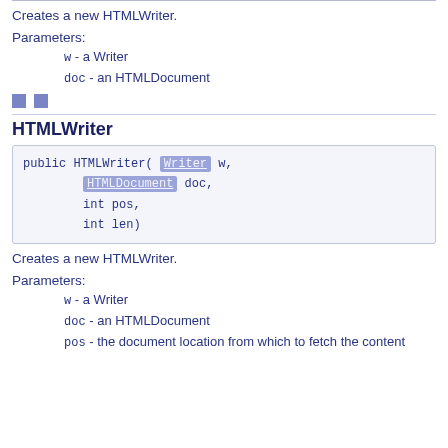Creates a new HTMLWriter.
Parameters:
w - a Writer
doc - an HTMLDocument
[Figure (other): Two small blue square icons]
HTMLWriter
public HTMLWriter( Writer w, HTMLDocument doc, int pos, int len)
Creates a new HTMLWriter.
Parameters:
w - a Writer
doc - an HTMLDocument
pos - the document location from which to fetch the content